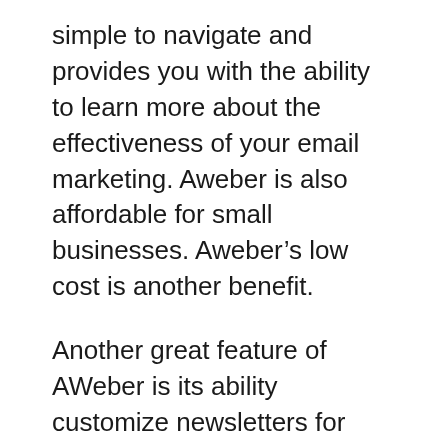simple to navigate and provides you with the ability to learn more about the effectiveness of your email marketing. Aweber is also affordable for small businesses. Aweber’s low cost is another benefit.
Another great feature of AWeber is its ability customize newsletters for each individual subscriber. There are over 700 templates to choose from, including mobile responsive ones. You can also track key metrics that aid in assessing the effectiveness of your marketing strategy. Among them are open rates, clickthrough rates and bounces. Aweber also provides statistics on your list’s growth over the years. It is easy to set up and is accompanied by extensive documentation.